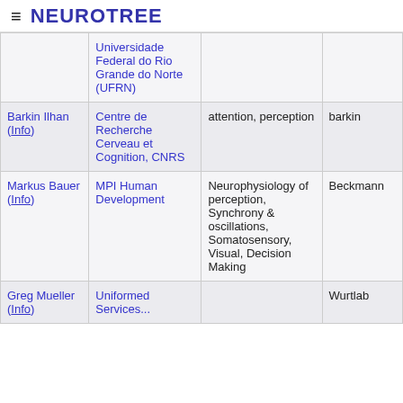≡ NEUROTREE
| Name | Institution | Research Interests | Advisor |
| --- | --- | --- | --- |
| [partial] Universidade Federal do Rio Grande do Norte (UFRN) |  |  |  |
| Barkin Ilhan (Info) | Centre de Recherche Cerveau et Cognition, CNRS | attention, perception | barkin |
| Markus Bauer (Info) | MPI Human Development | Neurophysiology of perception, Synchrony & oscillations, Somatosensory, Visual, Decision Making | Beckmann |
| Greg Mueller (Info) | Uniformed Services... |  | Wurtlab |